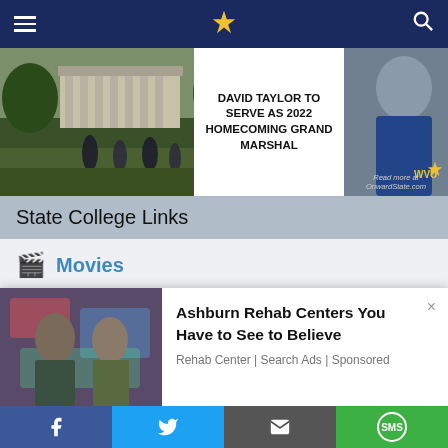Navigation bar with menu, logo, and search icons
[Figure (photo): Hero image left: students walking on campus near a classical building with columns and green lawn]
[Figure (photo): Hero image right: headline card reading 'DAVID TAYLOR TO SERVE AS 2022 HOMECOMING GRAND MARSHAL' overlaid on a photo of a man in a blue WVU jacket, with OnwardState.com watermark]
State College Links
Movies
Local theaters and new movies
Apartments
[Figure (photo): Ad image: two young women posing in front of graffiti wall]
Ashburn Rehab Centers You Have to See to Believe
Rehab Center | Search Ads | Sponsored
Social share bar: Facebook, Twitter, Email, SMS